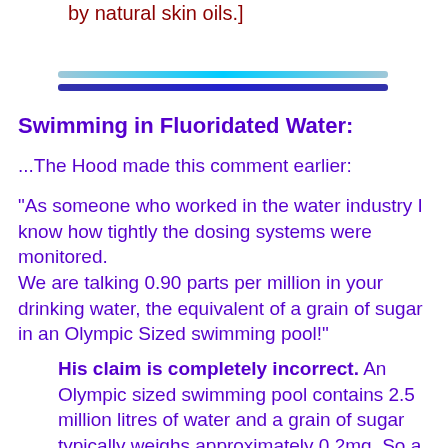by natural skin oils.]
[Figure (other): Decorative horizontal divider lines with blue/teal gradient effect]
Swimming in Fluoridated Water:
...The Hood made this comment earlier:
“As someone who worked in the water industry I know how tightly the dosing systems were monitored.
We are talking 0.90 parts per million in your drinking water, the equivalent of a grain of sugar in an Olympic Sized swimming pool!”
His claim is completely incorrect. An Olympic sized swimming pool contains 2.5 million litres of water and a grain of sugar typically weighs approximately 0.2mg. So a grain of sugar in an Olympic sized swimming pool would be a concentration of